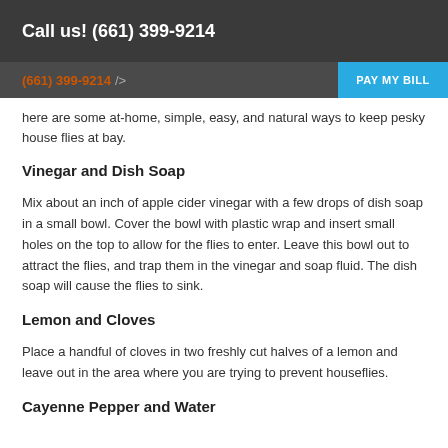Call us! (661) 399-9214
(661) 399-9214  PAY MY BILL
here are some at-home, simple, easy, and natural ways to keep pesky house flies at bay.
Vinegar and Dish Soap
Mix about an inch of apple cider vinegar with a few drops of dish soap in a small bowl. Cover the bowl with plastic wrap and insert small holes on the top to allow for the flies to enter. Leave this bowl out to attract the flies, and trap them in the vinegar and soap fluid. The dish soap will cause the flies to sink.
Lemon and Cloves
Place a handful of cloves in two freshly cut halves of a lemon and leave out in the area where you are trying to prevent houseflies.
Cayenne Pepper and Water